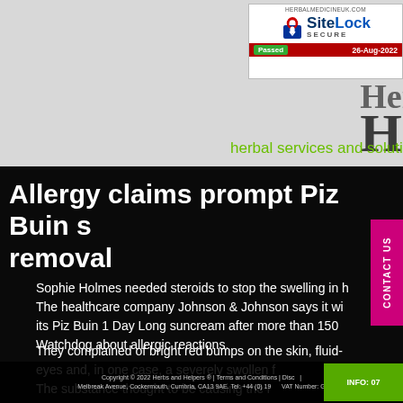[Figure (screenshot): SiteLock Secure badge showing HERBALMEDICINEUK.COM, passed 26-Aug-2022]
Herbal services and solutions | he
Allergy claims prompt Piz Buin s removal
Sophie Holmes needed steroids to stop the swelling in h The healthcare company Johnson & Johnson says it wi its Piz Buin 1 Day Long suncream after more than 150 Watchdog about allergic reactions.
They complained of bright red bumps on the skin, fluid- eyes and, in one case, a severely swollen f The substance thought to be causing the r
Copyright © 2022 Herbs and Helpers ® | Terms and Conditions | Disc | Melbreak Avenue, Cockermouth, Cumbria, CA13 9AE. Tel: +44 (0) 19 | VAT Number: G INFO: 07